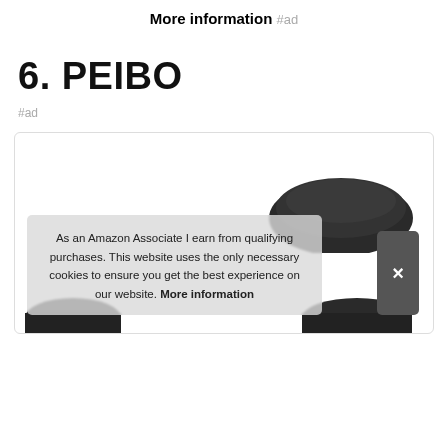More information #ad
6. PEIBO
#ad
[Figure (photo): Product photo of a PEIBO item (appears to be a dark-colored computer mouse), partially visible inside a white rounded-border card. A cookie consent banner overlays the lower portion of the card.]
As an Amazon Associate I earn from qualifying purchases. This website uses the only necessary cookies to ensure you get the best experience on our website. More information